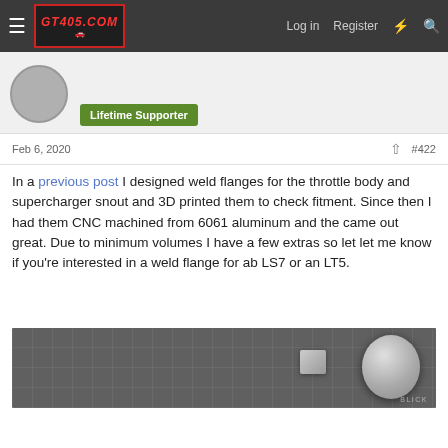GT405.COM — Log in | Register
[Figure (photo): User avatar circle thumbnail]
Lifetime Supporter
Feb 6, 2020   #422
In a previous post I designed weld flanges for the throttle body and supercharger snout and 3D printed them to check fitment. Since then I had them CNC machined from 6061 aluminum and the came out great. Due to minimum volumes I have a few extras so let let me know if you're interested in a weld flange for ab LS7 or an LT5.
[Figure (photo): Photo of CNC machined aluminum weld flanges on a cutting mat, with a circular flange part visible on the right and a smaller part in the center-left. A BLICK brand mat is visible in the background.]